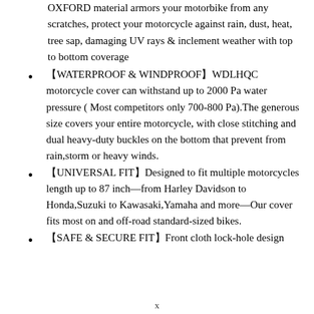OXFORD material armors your motorbike from any scratches, protect your motorcycle against rain, dust, heat, tree sap, damaging UV rays & inclement weather with top to bottom coverage
【WATERPROOF & WINDPROOF】WDLHQC motorcycle cover can withstand up to 2000 Pa water pressure ( Most competitors only 700-800 Pa).The generous size covers your entire motorcycle, with close stitching and dual heavy-duty buckles on the bottom that prevent from rain,storm or heavy winds.
【UNIVERSAL FIT】Designed to fit multiple motorcycles length up to 87 inch—from Harley Davidson to Honda,Suzuki to Kawasaki,Yamaha and more—Our cover fits most on and off-road standard-sized bikes.
【SAFE & SECURE FIT】Front cloth lock-hole design
x